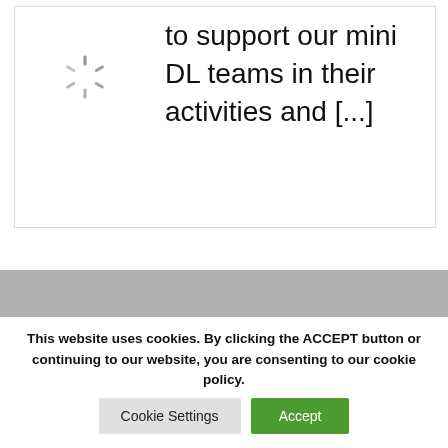[Figure (other): Loading spinner icon (circular dashed spokes)]
to support our mini DL teams in their activities and [...]
[Figure (other): Gray banner/band area]
This website uses cookies. By clicking the ACCEPT button or continuing to our website, you are consenting to our cookie policy.